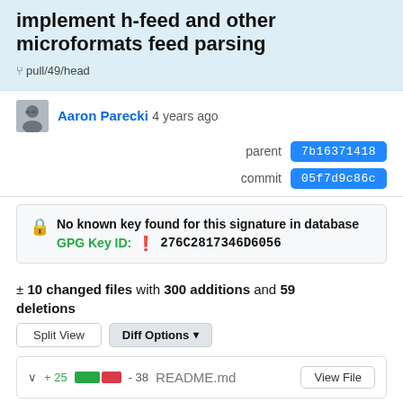implement h-feed and other microformats feed parsing
pull/49/head
Aaron Parecki 4 years ago
parent 7b16371418
commit 05f7d9c86c
No known key found for this signature in database GPG Key ID: ! 276C2817346D6056
± 10 changed files with 300 additions and 59 deletions
+ 25 - 38 README.md